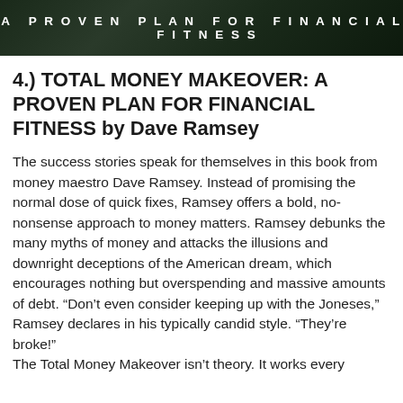[Figure (photo): Dark green banner image with text 'A PROVEN PLAN FOR FINANCIAL FITNESS' in white bold spaced letters]
4.) TOTAL MONEY MAKEOVER: A PROVEN PLAN FOR FINANCIAL FITNESS by Dave Ramsey
The success stories speak for themselves in this book from money maestro Dave Ramsey. Instead of promising the normal dose of quick fixes, Ramsey offers a bold, no-nonsense approach to money matters. Ramsey debunks the many myths of money and attacks the illusions and downright deceptions of the American dream, which encourages nothing but overspending and massive amounts of debt. “Don’t even consider keeping up with the Joneses,” Ramsey declares in his typically candid style. “They’re broke!”
The Total Money Makeover isn’t theory. It works every